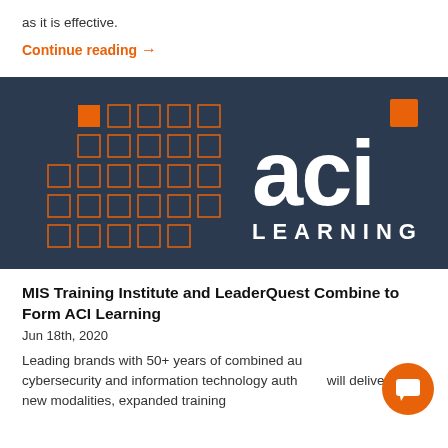as it is effective.
Continue reading →
[Figure (logo): ACI Learning logo on dark navy background with orange and outlined grid/hashtag pattern on the left and white 'aci' text with 'LEARNING' below on the right]
MIS Training Institute and LeaderQuest Combine to Form ACI Learning
Jun 18th, 2020
Leading brands with 50+ years of combined au... cybersecurity and information technology auth... will deliver new modalities, expanded training